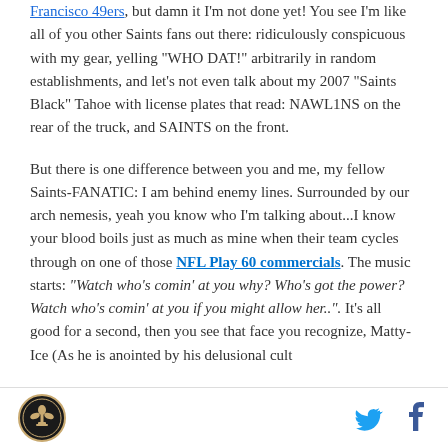Francisco 49ers, but damn it I'm not done yet! You see I'm like all of you other Saints fans out there: ridiculously conspicuous with my gear, yelling "WHO DAT!" arbitrarily in random establishments, and let's not even talk about my 2007 "Saints Black" Tahoe with license plates that read: NAWL1NS on the rear of the truck, and SAINTS on the front.
But there is one difference between you and me, my fellow Saints-FANATIC: I am behind enemy lines. Surrounded by our arch nemesis, yeah you know who I'm talking about...I know your blood boils just as much as mine when their team cycles through on one of those NFL Play 60 commercials. The music starts: "Watch who's comin' at you why? Who's got the power? Watch who's comin' at you if you might allow her..". It's all good for a second, then you see that face you recognize, Matty-Ice (As he is anointed by his delusional cult